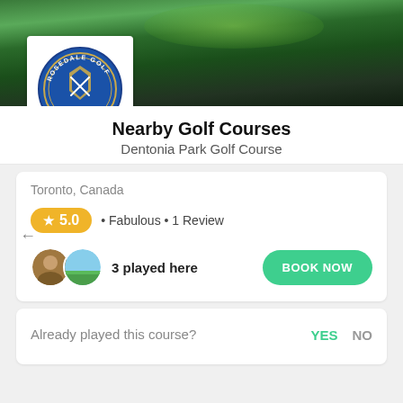[Figure (photo): Golf course hero image with green fairway and trees, overlaid with Rosedale Golf Club circular logo on white background in bottom-left]
Nearby Golf Courses
Dentonia Park Golf Course
Toronto, Canada
★ 5.0 · Fabulous · 1 Review
3 played here
BOOK NOW
Already played this course?
YES  NO